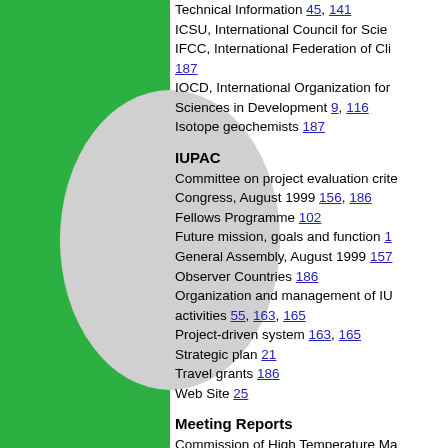Technical Information 45, 141
ICSU, International Council for Scie...
IFCC, International Federation of Cli... 187
IOCD, International Organization for Sciences in Development 9, 116
Isotope geochemists 187
IUPAC
Committee on project evaluation crite...
Congress, August 1999 156, 186
Fellows Programme 102
Future mission, goals and function 1...
General Assembly, August 1999 157
Observer Countries 186
Organization and management of IU... activities 55, 163, 165
Project-driven system 163, 165
Strategic plan 21
Travel grants 186
Web Site 25
Meeting Reports
Commission of High Temperature Ma... Solid State Chemistry 120
Commission on Biophysical Chemist...